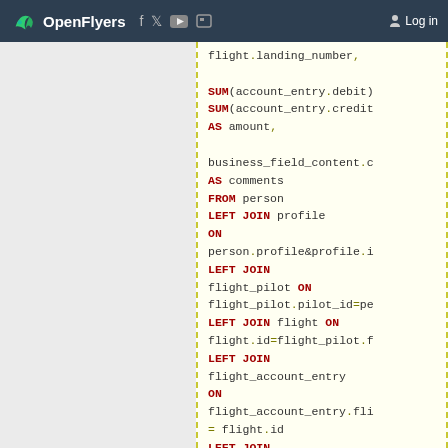OpenFlyers   Log in
[Figure (screenshot): SQL code block showing a query with LEFT JOINs on flight, profile, account_entry tables. Keywords in dark red bold, identifiers in dark text, operators in olive, on a light yellow background with dashed green border.]